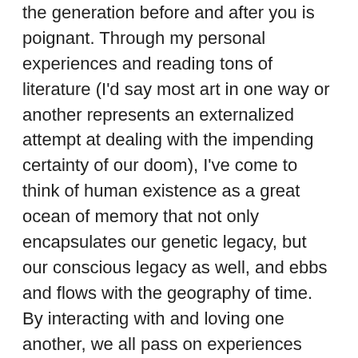the generation before and after you is poignant. Through my personal experiences and reading tons of literature (I'd say most art in one way or another represents an externalized attempt at dealing with the impending certainty of our doom), I've come to think of human existence as a great ocean of memory that not only encapsulates our genetic legacy, but our conscious legacy as well, and ebbs and flows with the geography of time. By interacting with and loving one another, we all pass on experiences that never really fade in their significance or relevance. At any given moment, any person is a cumulative representative of the history that has come before, and though those who lived to bring us into existence have died,